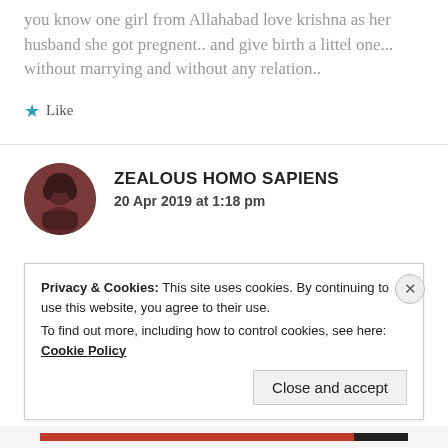you know one girl from Allahabad love krishna as her husband she got pregnent.. and give birth a littel one... without marrying and without any relation..
★ Like
[Figure (photo): Circular avatar photo of a person with dark hair, reddish-brown toned image]
ZEALOUS HOMO SAPIENS
20 Apr 2019 at 1:18 pm
Privacy & Cookies: This site uses cookies. By continuing to use this website, you agree to their use.
To find out more, including how to control cookies, see here: Cookie Policy
Close and accept